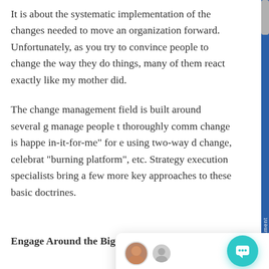It is about the systematic implementation of the changes needed to move an organization forward. Unfortunately, as you try to convince people to change the way they do things, many of them react exactly like my mother did.
The change management field is built around several g[...] manage people t[...] thoroughly comm[...] change is happe[...] in-it-for-me" for e[...] using two-way d[...] change, celebrat[...] "burning platform", etc. Strategy execution specialists bring a few more key approaches to these basic doctrines.
Engage Around the Big Picture. A simple
[Figure (screenshot): Chat popup window with two avatar icons, a close button (×), and the message: Hello and welcome to the Strategy Management Group. We are delighted to have you visit our site. How can we assist you?]